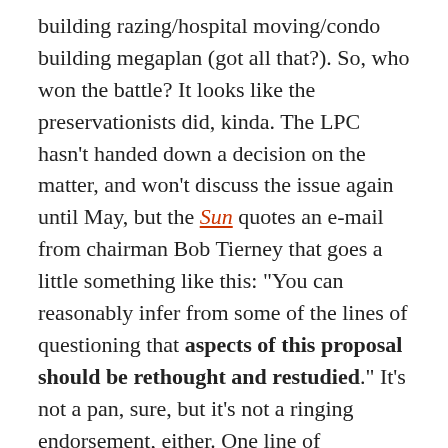building razing/hospital moving/condo building megaplan (got all that?). So, who won the battle? It looks like the preservationists did, kinda. The LPC hasn't handed down a decision on the matter, and won't discuss the issue again until May, but the Sun quotes an e-mail from chairman Bob Tierney that goes a little something like this: "You can reasonably infer from some of the lines of questioning that aspects of this proposal should be rethought and restudied." It's not a pan, sure, but it's not a ringing endorsement, either. One line of questioning toward Rudin officials during the hearing was about creating lower buildings with wider footprints, so maybe that will be the plan's ultimate fate. Would opponents be happy with that? Probably not, if buildings in the Greenwich Village Historic District have to be leveled.